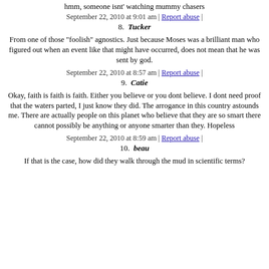hmm, someone isnt' watching mummy chasers
September 22, 2010 at 9:01 am | Report abuse |
8. Tucker
From one of those "foolish" agnostics. Just because Moses was a brilliant man who figured out when an event like that might have occurred, does not mean that he was sent by god.
September 22, 2010 at 8:57 am | Report abuse |
9. Catie
Okay, faith is faith is faith. Either you believe or you dont believe. I dont need proof that the waters parted, I just know they did. The arrogance in this country astounds me. There are actually people on this planet who believe that they are so smart there cannot possibly be anything or anyone smarter than they. Hopeless
September 22, 2010 at 8:59 am | Report abuse |
10. beau
If that is the case, how did they walk through the mud in scientific terms?